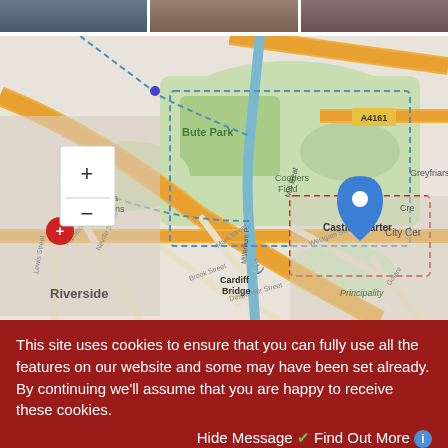[Figure (photo): Three cropped photos of city scenes]
[Figure (map): OpenStreetMap showing Cardiff area with Bute Park, Sophia Gardens, Cardiff Bridge, Castle Quarter, Riverside, Principality. Blue location pin at Castle Quarter. Red circle marker on left. Zoom controls (+/-) in top left. Road labels including A4161, Hamilton Street, Lewis Street, Neville Street, Mark Street, Brook Street, Despenser Street, Westgate Street, Greyfriars, Mill Beat waterway.]
This site uses cookies to ensure that you can fully use all the features on our website and some may have been set already. By continuing we'll assume that you are happy to receive these cookies.
Hide Message ✔ Find Out More ℹ